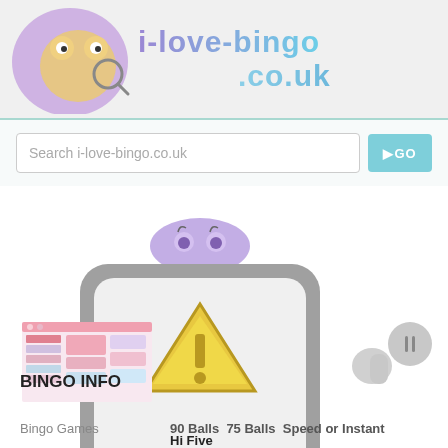[Figure (logo): i-love-bingo.co.uk website logo with cartoon character (cat with magnifying glass on purple bubble) and stylized text 'i-love-bingo .co.uk' in purple/blue gradient]
[Figure (screenshot): Search bar with placeholder text 'Search i-love-bingo.co.uk' and a teal GO button]
[Figure (illustration): Cartoon robot/character holding a warning sign (yellow triangle with exclamation mark) - error/broken image indicator. Watermark text 'i-loveibingo.co.uk' visible.]
[Figure (screenshot): Small thumbnail screenshot of a bingo website with pink/colorful design]
BINGO INFO
Bingo Games   90 Balls  75 Balls  Speed or Instant
                              Hi Five